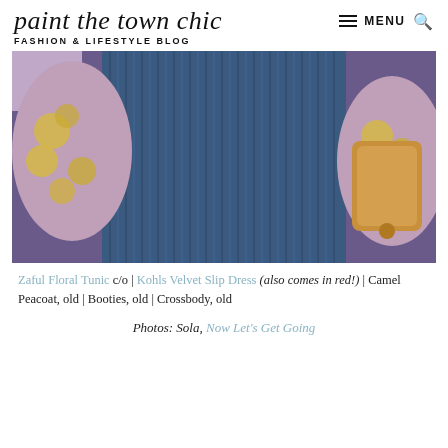paint the town chic | MENU
FASHION & LIFESTYLE BLOG
[Figure (photo): Close-up photo of a person wearing a blue ribbed velvet slip dress over a mauve/pink floral print tunic with yellow flowers, carrying a tan crossbody bag, standing in front of a purple/blue wall]
Zaful Floral Tunic c/o | Kohls Velvet Slip Dress (also comes in red!) | Camel Peacoat, old | Booties, old | Crossbody, old
Photos: Sola, Now Let's Get Going